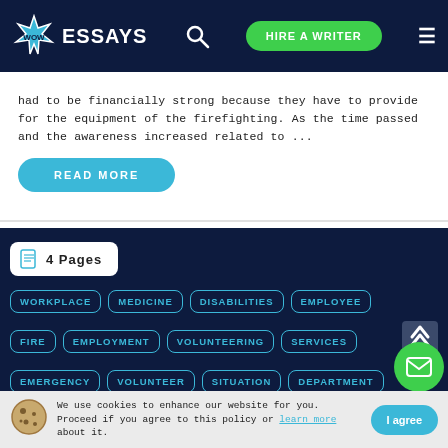WOW ESSAYS | HIRE A WRITER
had to be financially strong because they have to provide for the equipment of the firefighting. As the time passed and the awareness increased related to ...
READ MORE
4 Pages
WORKPLACE
MEDICINE
DISABILITIES
EMPLOYEE
FIRE
EMPLOYMENT
VOLUNTEERING
SERVICES
EMERGENCY
VOLUNTEER
SITUATION
DEPARTMENT
We use cookies to enhance our website for you. Proceed if you agree to this policy or learn more about it. | I agree